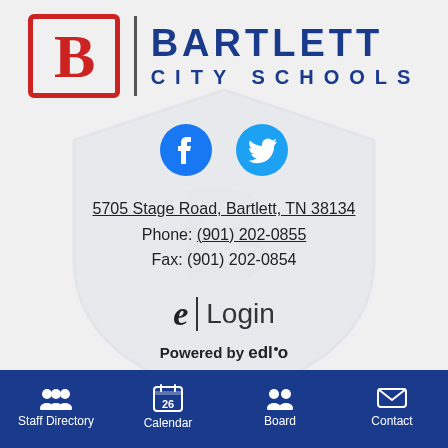[Figure (logo): Bartlett City Schools logo with red B in box and blue text BARTLETT CITY SCHOOLS]
[Figure (logo): Facebook and Twitter social media icons in blue]
5705 Stage Road, Bartlett, TN 38134
Phone: (901) 202-0855
Fax: (901) 202-0854
[Figure (logo): Edlio e-mark Login button]
Powered by edlio
Bartlett City Schools offers educational and employment
Staff Directory  Calendar  Board  Contact